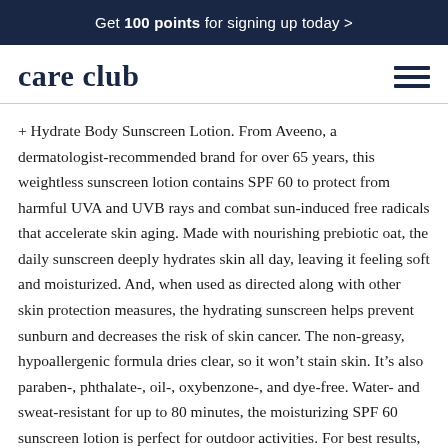Get 100 points for signing up today >
care club
+ Hydrate Body Sunscreen Lotion. From Aveeno, a dermatologist-recommended brand for over 65 years, this weightless sunscreen lotion contains SPF 60 to protect from harmful UVA and UVB rays and combat sun-induced free radicals that accelerate skin aging. Made with nourishing prebiotic oat, the daily sunscreen deeply hydrates skin all day, leaving it feeling soft and moisturized. And, when used as directed along with other skin protection measures, the hydrating sunscreen helps prevent sunburn and decreases the risk of skin cancer. The non-greasy, hypoallergenic formula dries clear, so it won’t stain skin. It’s also paraben-, phthalate-, oil-, oxybenzone-, and dye-free. Water- and sweat-resistant for up to 80 minutes, the moisturizing SPF 60 sunscreen lotion is perfect for outdoor activities. For best results, apply the sunblock 15 minutes before sun exposure and reapply every two hours or more